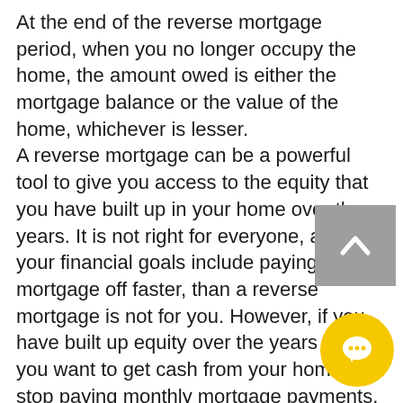At the end of the reverse mortgage period, when you no longer occupy the home, the amount owed is either the mortgage balance or the value of the home, whichever is lesser. A reverse mortgage can be a powerful tool to give you access to the equity that you have built up in your home over the years. It is not right for everyone, and if your financial goals include paying your mortgage off faster, than a reverse mortgage is not for you. However, if you have built up equity over the years and you want to get cash from your home or stop paying monthly mortgage payments, than a reverse mortgage is an excellent program to consider. Our loan advisors at American Pacific Mortgage can sit down and listen to what goals you want to accomplish and help you to determine if a reverse mortgage is the right tool to reach
[Figure (other): Gray back-to-top button with upward chevron arrow]
[Figure (other): Yellow circular chat/messaging button with speech bubble icon]